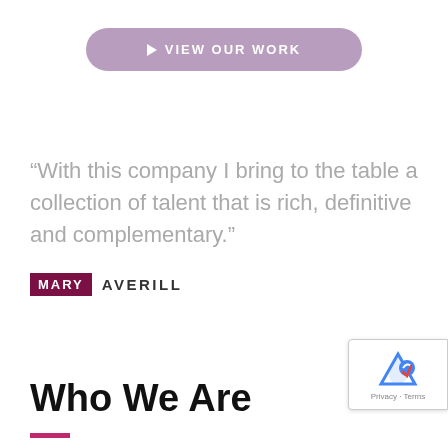[Figure (other): Purple rounded button labeled 'VIEW OUR WORK' with a play arrow icon]
“With this company I bring to the table a collection of talent that is rich, definitive and complementary.”
MARY AVERILL
Who We Are
[Figure (other): reCAPTCHA badge with Google logo, Privacy and Terms text]